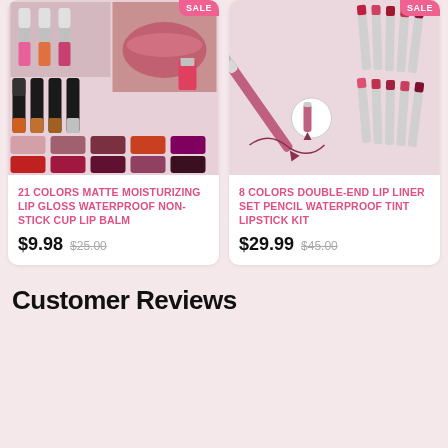[Figure (photo): Product image for 21 Colors Matte Moisturizing Lip Gloss - showing multiple lip gloss tubes in gradient colors, arranged in a grid with lip swatches]
SALE
21 COLORS MATTE MOISTURIZING LIP GLOSS WATERPROOF NON-STICK CUP LIP BALM
$9.98  $25.00
[Figure (photo): Product image for 8 Colors Double-End Lip Liner Set Pencil - showing a lip liner pencil with multiple lipstick shades fanned out behind it]
SALE
8 COLORS DOUBLE-END LIP LINER SET PENCIL WATERPROOF TINT LIPSTICK KIT
$29.99  $45.00
Customer Reviews